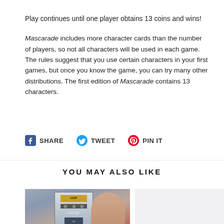Play continues until one player obtains 13 coins and wins!
Mascarade includes more character cards than the number of players, so not all characters will be used in each game. The rules suggest that you use certain characters in your first games, but once you know the game, you can try many other distributions. The first edition of Mascarade contains 13 characters.
SHARE  TWEET  PIN IT
YOU MAY ALSO LIKE
[Figure (photo): Product image of the Coup board game box showing a woman in red and the word 'coup' on the box]